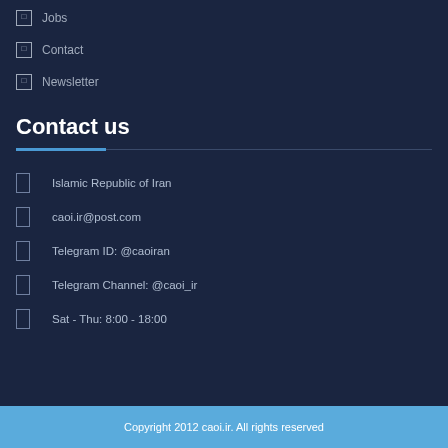Jobs
Contact
Newsletter
Contact us
Islamic Republic of Iran
caoi.ir@post.com
Telegram ID:  @caoiran
Telegram Channel: @caoi_ir
Sat - Thu: 8:00 - 18:00
Copyright 2012 caoi.ir. All rights reserved